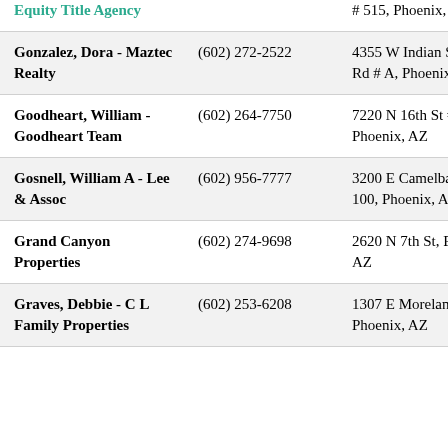| Name | Phone | Address |
| --- | --- | --- |
| Equity Title Agency |  | # 515, Phoenix, AZ |
| Gonzalez, Dora - Maztec Realty | (602) 272-2522 | 4355 W Indian School Rd # A, Phoenix, AZ |
| Goodheart, William - Goodheart Team | (602) 264-7750 | 7220 N 16th St # D, Phoenix, AZ |
| Gosnell, William A - Lee & Assoc | (602) 956-7777 | 3200 E Camelback Rd # 100, Phoenix, AZ |
| Grand Canyon Properties | (602) 274-9698 | 2620 N 7th St, Phoenix, AZ |
| Graves, Debbie - C L Family Properties | (602) 253-6208 | 1307 E Moreland St, Phoenix, AZ |